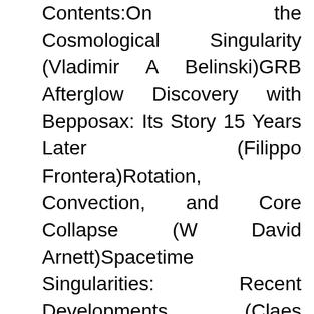Contents:On the Cosmological Singularity (Vladimir A Belinski)GRB Afterglow Discovery with Bepposax: Its Story 15 Years Later (Filippo Frontera)Rotation, Convection, and Core Collapse (W David Arnett)Spacetime Singularities: Recent Developments (Claes Uggla)Hidden Symmetries: From BKL to Kac-Moody (Philipp Fleig & Hermann Nicolai)Recent Results in Mathematical GR (Sergiu Klainerman)Higher Dimensional Black Holes (Harvey S Reall)Causal Dynamical Triangulations and the Search for a Theory of Quantum Gravity (Jan Ambjorn, Andrzej Görlich, Jerzy Jurkiewicz & Renate Loll)On Quantum Gravity, Asymptotic Safety, and Paramagnetic Dominance (Andreas Nink & Martin Reuter)Perturbative Quantum Gravity as a Double Copy of Gauge Theory and Implications for UV Properties (Zvi Bern)Type Ia